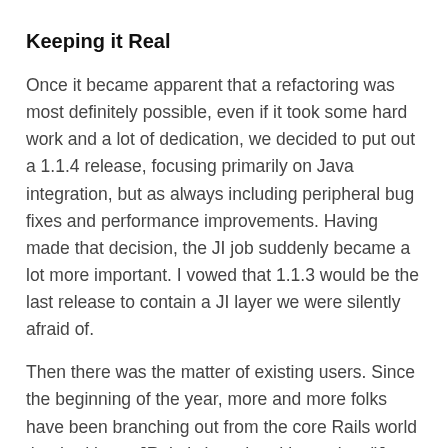Keeping it Real
Once it became apparent that a refactoring was most definitely possible, even if it took some hard work and a lot of dedication, we decided to put out a 1.1.4 release, focusing primarily on Java integration, but as always including peripheral bug fixes and performance improvements. Having made that decision, the JI job suddenly became a lot more important. I vowed that 1.1.3 would be the last release to contain a JI layer we were silently afraid of.
Then there was the matter of existing users. Since the beginning of the year, more and more folks have been branching out from the core Rails world that had been JRuby's bread and butter into "Java scripting" sorts of applications. Probably the most prominent ones are the team at Happy Camper Studios, who not only built a real-world-practical Swing framework for JRuby (see MonkeyBars) and a library for packaging up JRuby-based Ruby apps as single-file executables (see Rawr), but who also were pushing the boundaries of what Ruby and JRuby